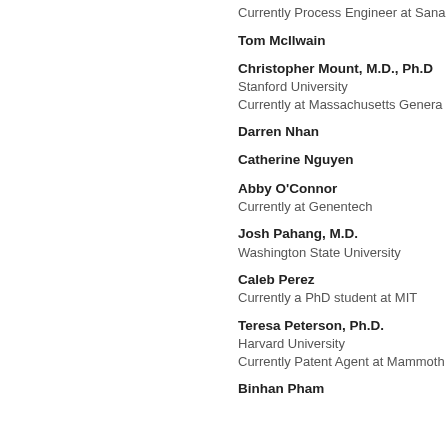Currently Process Engineer at Sana
Tom McIlwain
Christopher Mount, M.D., Ph.D
Stanford University
Currently at Massachusetts Genera
Darren Nhan
Catherine Nguyen
Abby O'Connor
Currently at Genentech
Josh Pahang, M.D.
Washington State University
Caleb Perez
Currently a PhD student at MIT
Teresa Peterson, Ph.D.
Harvard University
Currently Patent Agent at Mammoth
Binhan Pham